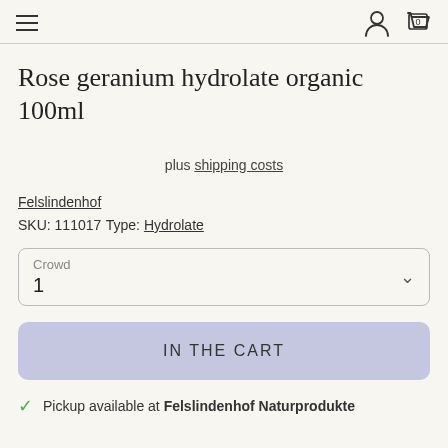Navigation header with hamburger menu, user icon, and cart icon (0 items)
Rose geranium hydrolate organic 100ml
plus shipping costs
Felslindenhof
SKU: 111017
Type: Hydrolate
Crowd: 1
IN THE CART
Pickup available at Felslindenhof Naturprodukte